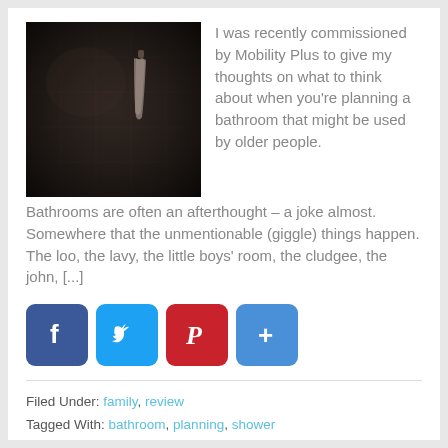[Figure (photo): Dark bathroom photo showing a towel hanging on a hook against dark tiled wall]
I was recently commissioned by Mobility Plus to give my thoughts on what to think about when you're planning a bathroom that might be used by older people. Bathrooms are often an afterthought – a joke almost. Somewhere that the unmentionable (giggle) things happen. The loo, the lavy, the little boys' room, the cludgee, the john, [...]
[Figure (infographic): Social share buttons: Facebook, Twitter, Pinterest, and a generic share button]
Filed Under: family, review
Tagged With: bathroom, planning, shower